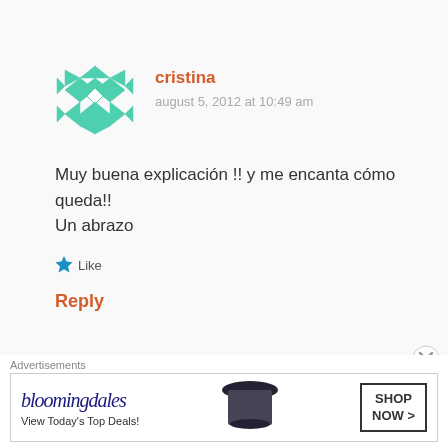[Figure (illustration): Teal geometric avatar icon for user cristina, diamond/quilt pattern]
cristina
august 5, 2012 at 10:49 am
Muy buena explicación !! y me encanta cómo queda!!
Un abrazo
[Figure (illustration): Blue star icon for Like button]
Like
Reply
[Figure (illustration): Green abstract avatar icon for user joelle]
joelle
Advertisements
[Figure (screenshot): Bloomingdale's advertisement banner: View Today's Top Deals! SHOP NOW >]